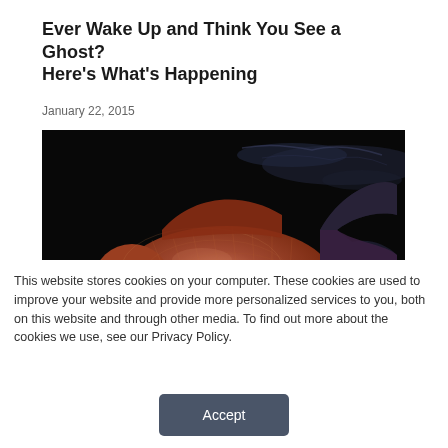Ever Wake Up and Think You See a Ghost? Here's What's Happening
January 22, 2015
[Figure (photo): A reddish-brown fish swimming against a dark/black background, viewed from the side. The fish has visible scales and a dark tail fin.]
This website stores cookies on your computer. These cookies are used to improve your website and provide more personalized services to you, both on this website and through other media. To find out more about the cookies we use, see our Privacy Policy.
Accept